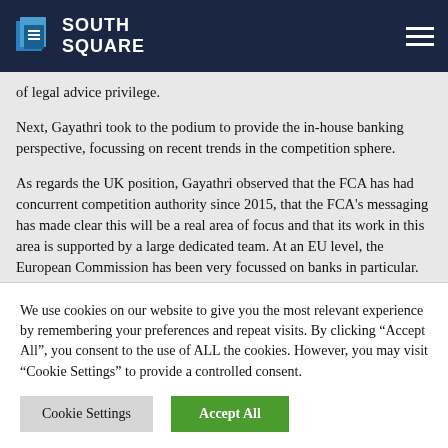SOUTH SQUARE
of legal advice privilege.
Next, Gayathri took to the podium to provide the in-house banking perspective, focussing on recent trends in the competition sphere.
As regards the UK position, Gayathri observed that the FCA has had concurrent competition authority since 2015, that the FCA's messaging has made clear this will be a real area of focus and that its work in this area is supported by a large dedicated team. At an EU level, the European Commission has been very focussed on banks in particular. Gayathri pointed
We use cookies on our website to give you the most relevant experience by remembering your preferences and repeat visits. By clicking "Accept All", you consent to the use of ALL the cookies. However, you may visit "Cookie Settings" to provide a controlled consent.
Cookie Settings | Accept All